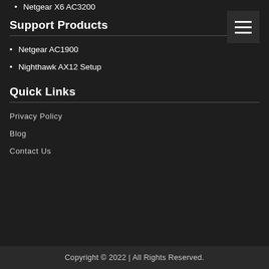Netgear X6 AC3200
Support Products
Netgear AC1900
Nighthawk AX12 Setup
Quick Links
Privacy Policy
Blog
Contact Us
Copyright © 2022 | All Rights Reserved.